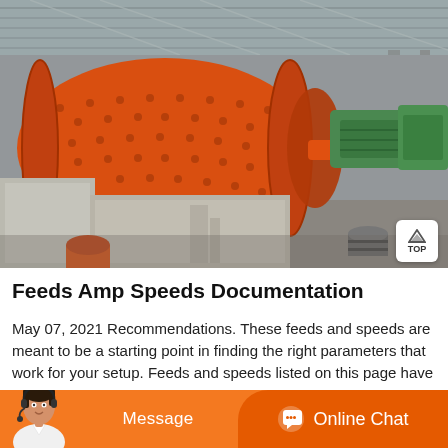[Figure (photo): Industrial ball mill machine inside a warehouse/factory. Large orange cylindrical ball mill with bolted flanges, connected to green motor/gearbox assembly, mounted on concrete foundations. Corrugated metal roof structure visible.]
Feeds Amp Speeds Documentation
May 07, 2021 Recommendations. These feeds and speeds are meant to be a starting point in finding the right parameters that work for your setup. Feeds and speeds listed on this page have...
[Figure (other): Bottom chat bar with orange background. Left side shows customer service avatar (woman with headset). Message button in center. Online Chat button with chat icon on the right.]